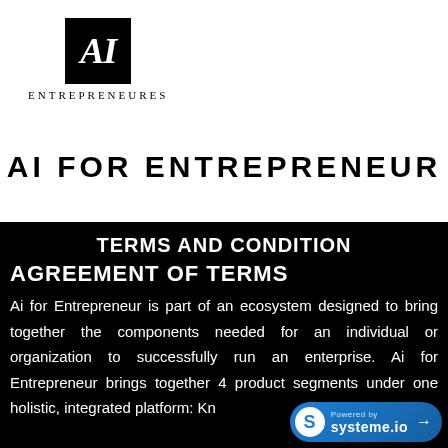[Figure (logo): AI Entrepreneures logo: black square with italic 'AI' text in white, with 'ENTREPRENEURES' text in small caps below]
AI FOR ENTREPRENEUR
TERMS AND CONDITION
AGREEMENT OF TERMS
Ai for Entrepreneur is part of an ecosystem designed to bring together the components needed for an individual or organization to successfully run an enterprise. Ai for Entrepreneur brings together 4 product segments under one holistic, integrated platform: Kn